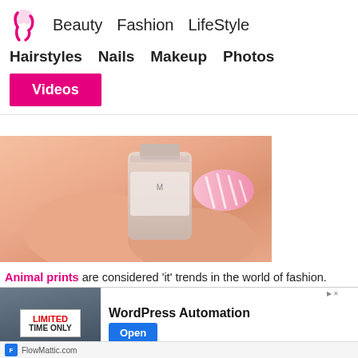Beauty  Fashion  LifeStyle  |  Hairstyles  Nails  Makeup  Photos  |  Videos
[Figure (photo): Close-up photo of fingers near a nail polish bottle with a painted nail showing pink zebra/stripe pattern]
Animal prints are considered ‘it’ trends in the world of fashion. Manicure designs make no exception when it comes to paying tribute to the modern cult of leopard and zebra patterns. Apply the most fabulous designs on nails to flaunt your youthful and creative side.
[Figure (screenshot): Advertisement banner: WordPress Automation with LIMITED TIME ONLY label, Open button, and FlowMattic.com footer]